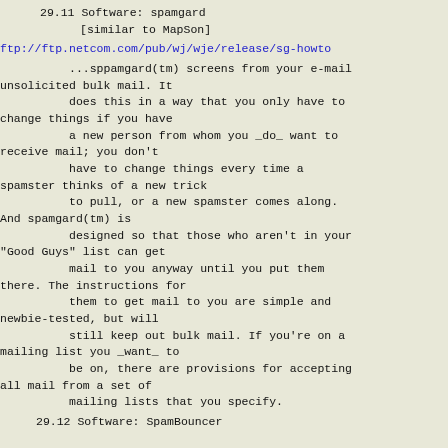29.11 Software: spamgard
[similar to MapSon]
ftp://ftp.netcom.com/pub/wj/wje/release/sg-howto
...sppamgard(tm) screens from your e-mail unsolicited bulk mail. It
          does this in a way that you only have to change things if you have
          a new person from whom you _do_ want to receive mail; you don't
          have to change things every time a spamster thinks of a new trick
          to pull, or a new spamster comes along. And spamgard(tm) is
          designed so that those who aren't in your "Good Guys" list can get
          mail to you anyway until you put them there. The instructions for
          them to get mail to you are simple and newbie-tested, but will
          still keep out bulk mail. If you're on a mailing list you _want_ to
          be on, there are provisions for accepting all mail from a set of
          mailing lists that you specify.
29.12 Software: SpamBouncer